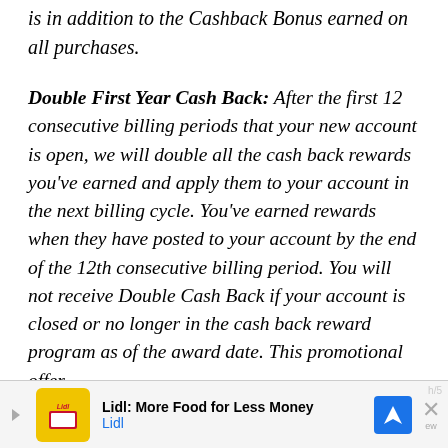is in addition to the Cashback Bonus earned on all purchases.
Double First Year Cash Back: After the first 12 consecutive billing periods that your new account is open, we will double all the cash back rewards you've earned and apply them to your account in the next billing cycle. You've earned rewards when they have posted to your account by the end of the 12th consecutive billing period. You will not receive Double Cash Back if your account is closed or no longer in the cash back reward program as of the award date. This promotional offer
[Figure (other): Advertisement banner for Lidl: More Food for Less Money, showing Lidl logo, navigation icon, and close button]